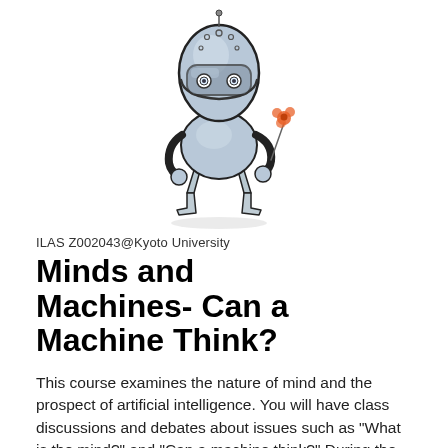[Figure (illustration): A cartoon robot illustration holding a small orange flower in one hand. The robot has a rounded metallic helmet-like head with a visor, a round body, and jointed limbs. It is drawn in a sketch style with gray metallic shading and black outlines.]
ILAS Z002043@Kyoto University
Minds and Machines- Can a Machine Think?
This course examines the nature of mind and the prospect of artificial intelligence. You will have class discussions and debates about issues such as “What is the mind?” and “Can a machine think?” During the